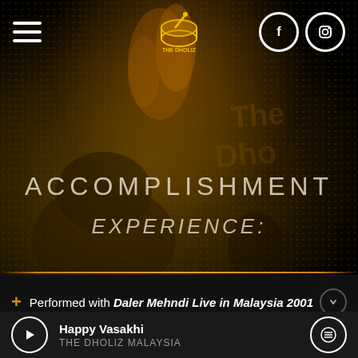[Figure (screenshot): Mobile app screenshot showing The Dholiz Malaysia website with hamburger menu, logo, Facebook and Instagram social icons in header. Dark background with decorative fire/drum imagery overlay with dot pattern.]
ACCOMPLISHMENT
EXPERIENCE:
+ Performed with Daler Mehndi Live in Malaysia 2001
Happy Vasakhi THE DHOLIZ MALAYSIA